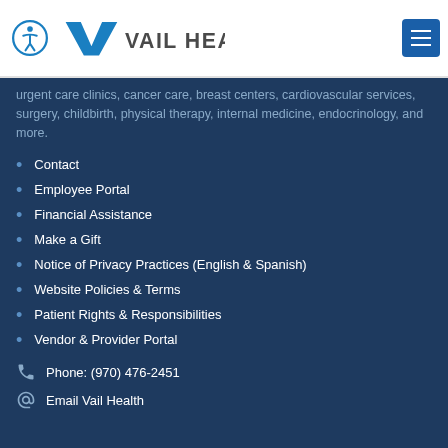Vail Health
urgent care clinics, cancer care, breast centers, cardiovascular services, surgery, childbirth, physical therapy, internal medicine, endocrinology, and more.
Contact
Employee Portal
Financial Assistance
Make a Gift
Notice of Privacy Practices (English & Spanish)
Website Policies & Terms
Patient Rights & Responsibilities
Vendor & Provider Portal
Phone: (970) 476-2451
Email Vail Health